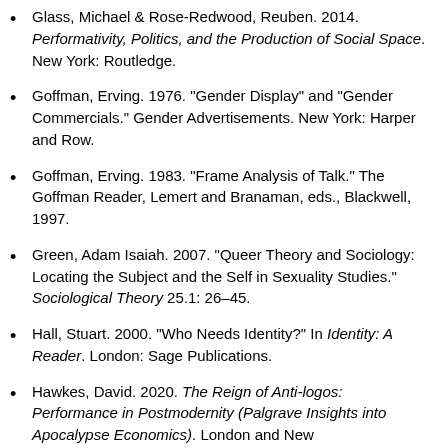Glass, Michael & Rose-Redwood, Reuben. 2014. Performativity, Politics, and the Production of Social Space. New York: Routledge.
Goffman, Erving. 1976. "Gender Display" and "Gender Commercials." Gender Advertisements. New York: Harper and Row.
Goffman, Erving. 1983. "Frame Analysis of Talk." The Goffman Reader, Lemert and Branaman, eds., Blackwell, 1997.
Green, Adam Isaiah. 2007. "Queer Theory and Sociology: Locating the Subject and the Self in Sexuality Studies." Sociological Theory 25.1: 26–45.
Hall, Stuart. 2000. "Who Needs Identity?" In Identity: A Reader. London: Sage Publications.
Hawkes, David. 2020. The Reign of Anti-logos: Performance in Postmodernity (Palgrave Insights into Apocalypse Economics). London and New